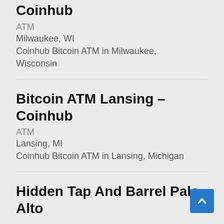Coinhub
ATM
Milwaukee, WI
Coinhub Bitcoin ATM in Milwaukee, Wisconsin
Bitcoin ATM Lansing – Coinhub
ATM
Lansing, MI
Coinhub Bitcoin ATM in Lansing, Michigan
Hidden Tap And Barrel Palo Alto